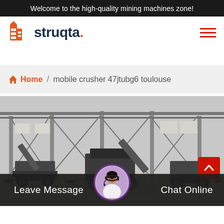Welcome to the high-quality mining machines zone!
[Figure (logo): Struqta logo with orange building icon and dark navy wordmark with orange period]
Home / mobile crusher 47jtubg6 toulouse
[Figure (photo): Black and white industrial photo of mobile crushing machinery inside a large factory/warehouse with steel frame structure]
Leave Message   Chat Online